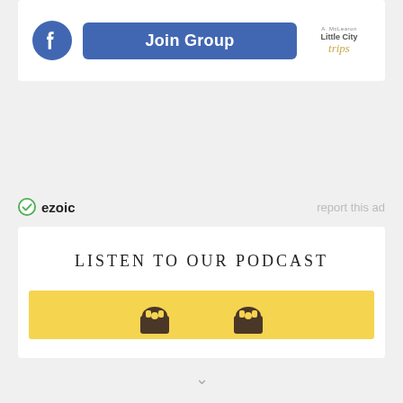[Figure (other): Facebook Join Group button with Little City Trips logo]
ezoic   report this ad
[Figure (other): Listen To Our Podcast section with yellow banner showing cartoon character icons]